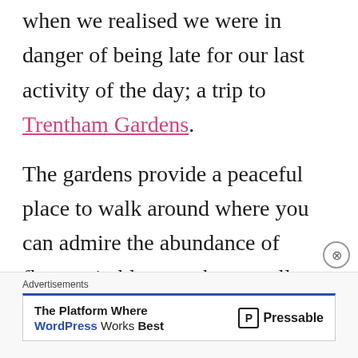when we realised we were in danger of being late for our last activity of the day; a trip to Trentham Gardens.
The gardens provide a peaceful place to walk around where you can admire the abundance of flowers in bloom, take a stroll around the lake and see the site of the former house on the Trentham Estate.
Advertisements — The Platform Where WordPress Works Best — Pressable